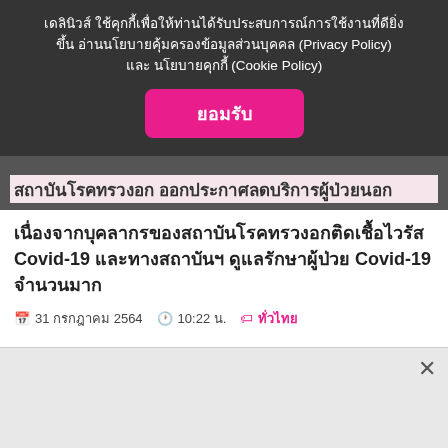เดลินิวส์ ใช้คุกกี้เพื่อให้ท่านได้รับประสบการณ์การใช้งานที่ดียิ่งขึ้น อ่านนโยบายคุ้มครองข้อมูลส่วนบุคคล (Privacy Policy) และ นโยบายคุกกี้ (Cookie Policy)
ยอมรับ
สถาบันโรคทรวงอก ออกประกาศลดบริการผู้ป่วยนอก เนื่องจากบุคลากรของสถาบันโรคทรวงอกติดเชื้อไวรัส Covid-19 และทางสถาบันฯ ดูแลรักษาผู้ป่วย Covid-19 จำนวนมาก
31 กรกฎาคม 2564   10:22 น.   ทั่วไทย
[Figure (screenshot): Social share buttons: chain link (0), Facebook (1), Twitter (0), LINE (0)]